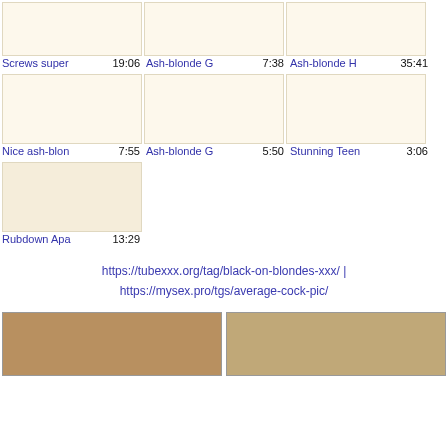[Figure (other): Row of video thumbnails - Screws super 19:06, Ash-blonde G 7:38, Ash-blonde H 35:41]
Screws super  19:06    Ash-blonde G  7:38    Ash-blonde H  35:41
[Figure (other): Row of video thumbnails - Nice ash-blon 7:55, Ash-blonde G 5:50, Stunning Teen 3:06]
Nice ash-blon  7:55    Ash-blonde G  5:50    Stunning Teen  3:06
[Figure (other): Single video thumbnail - Rubdown Apa 13:29]
Rubdown Apa  13:29
https://tubexxx.org/tag/black-on-blondes-xxx/ | https://mysex.pro/tgs/average-cock-pic/
[Figure (photo): Two photos of blonde women at bottom of page]